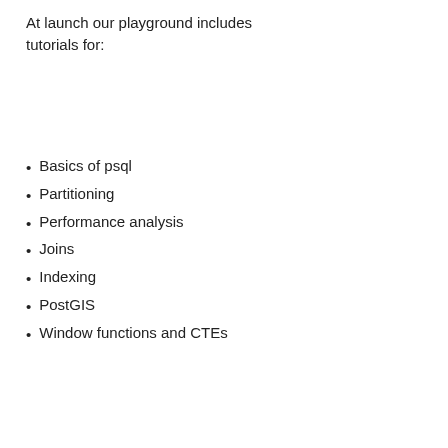At launch our playground includes tutorials for:
Basics of psql
Partitioning
Performance analysis
Joins
Indexing
PostGIS
Window functions and CTEs
[...]
AWS RDS PostgreSQL Deployment with pgAdmin 4
Posted by
Yogesh Mahajan